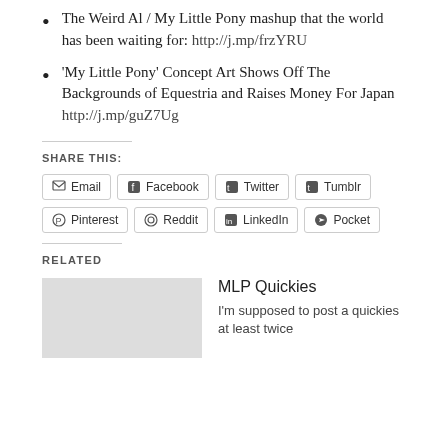The Weird Al / My Little Pony mashup that the world has been waiting for: http://j.mp/frzYRU
'My Little Pony' Concept Art Shows Off The Backgrounds of Equestria and Raises Money For Japan http://j.mp/guZ7Ug
SHARE THIS:
Email  Facebook  Twitter  Tumblr  Pinterest  Reddit  LinkedIn  Pocket
RELATED
MLP Quickies
I'm supposed to post a quickies at least twice